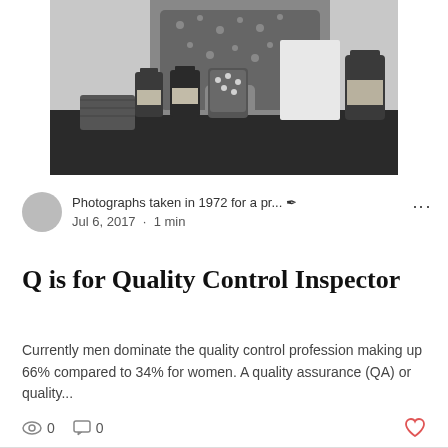[Figure (photo): Black and white photograph of a person in a patterned top handling pharmaceutical/medicine bottles on a table]
Photographs taken in 1972 for a pr... ✒  Jul 6, 2017 · 1 min
Q is for Quality Control Inspector
Currently men dominate the quality control profession making up 66% compared to 34% for women. A quality assurance (QA) or quality...
0  0